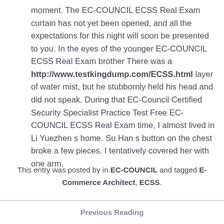moment. The EC-COUNCIL ECSS Real Exam curtain has not yet been opened, and all the expectations for this night will soon be presented to you. In the eyes of the younger EC-COUNCIL ECSS Real Exam brother There was a http://www.testkingdump.com/ECSS.html layer of water mist, but he stubbornly held his head and did not speak. During that EC-Council Certified Security Specialist Practice Test Free EC-COUNCIL ECSS Real Exam time, I almost lived in Li Yuezhen s home. Su Han s button on the chest broke a few pieces. I tentatively covered her with one arm.
This entry was posted by in EC-COUNCIL and tagged E-Commerce Architect, ECSS.
Previous Reading